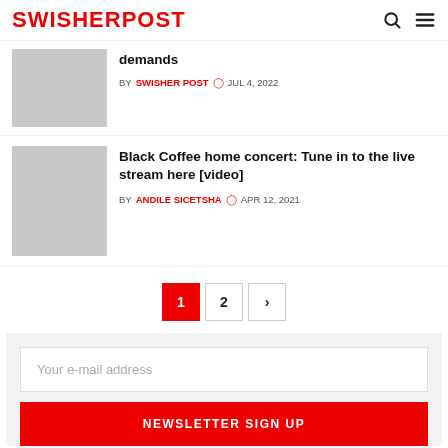SWISHERPOST
demands
BY SWISHER POST  JUL 4, 2022
Black Coffee home concert: Tune in to the live stream here [video]
BY ANDILE SICETSHA  APR 12, 2021
1  2  >
Your e-mail address
NEWSLETTER SIGN UP